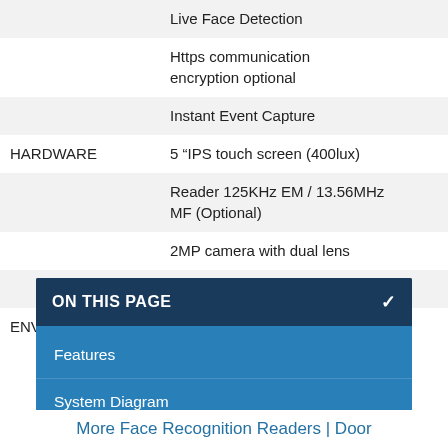|  |  |
| --- | --- |
|  | Live Face Detection |
|  | Https communication encryption optional |
|  | Instant Event Capture |
| HARDWARE | 5 “IPS touch screen (400lux) |
|  | Reader 125KHz EM / 13.56MHz MF (Optional) |
|  | 2MP camera with dual lens |
|  | Hi-Fi sound |
| ENVIRONMENT | Operation temperature: —10°C |
ON THIS PAGE
Features
System Diagram
Specifications
More Face Recognition Readers | Door